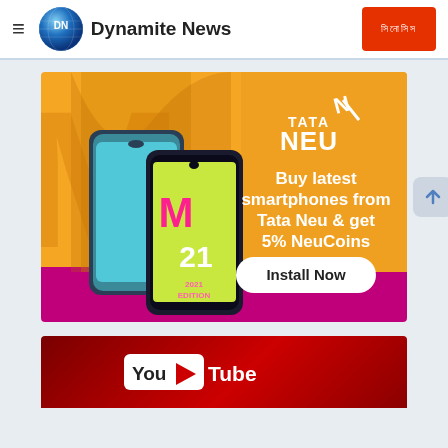Dynamite News
[Figure (advertisement): Tata Neu advertisement banner showing Samsung M21 smartphones with text 'Buy latest smartphones from Tata Neu & get 5% NeuCoins' and 'Install Now' button]
[Figure (other): YouTube logo banner on red gradient background]